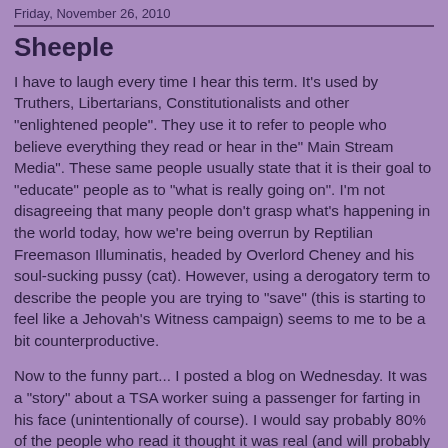Friday, November 26, 2010
Sheeple
I have to laugh every time I hear this term. It's used by Truthers, Libertarians, Constitutionalists and other "enlightened people". They use it to refer to people who believe everything they read or hear in the" Main Stream Media". These same people usually state that it is their goal to "educate" people as to "what is really going on". I'm not disagreeing that many people don't grasp what's happening in the world today, how we're being overrun by Reptilian Freemason Illuminatis, headed by Overlord Cheney and his soul-sucking pussy (cat). However, using a derogatory term to describe the people you are trying to "save" (this is starting to feel like a Jehovah's Witness campaign) seems to me to be a bit counterproductive.
Now to the funny part... I posted a blog on Wednesday. It was a "story" about a TSA worker suing a passenger for farting in his face (unintentionally of course). I would say probably 80% of the people who read it thought it was real (and will probably continue to think so, even after I post this).